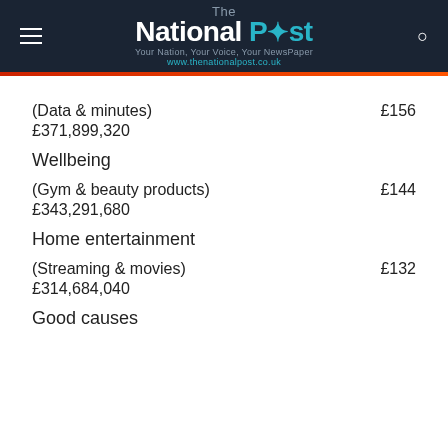The National Post — Your Nation, Your Voice, Your NewsPaper — www.thenationalpost.co.uk
(Data & minutes)   £156
 £371,899,320
Wellbeing
(Gym & beauty products)   £144
 £343,291,680
Home entertainment
(Streaming & movies)   £132
 £314,684,040
Good causes